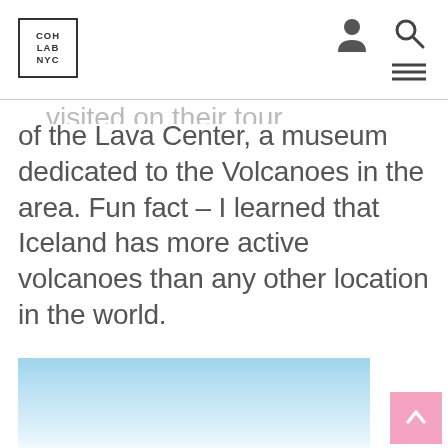COH LAB NYC
of the Lava Center, a museum dedicated to the Volcanoes in the area. Fun fact – I learned that Iceland has more active volcanoes than any other location in the world.
[Figure (photo): Partial image of a light blue sky, likely showing a landscape or scenic outdoor scene related to Iceland]
[Figure (other): Pink back-to-top button with an upward-pointing chevron arrow]